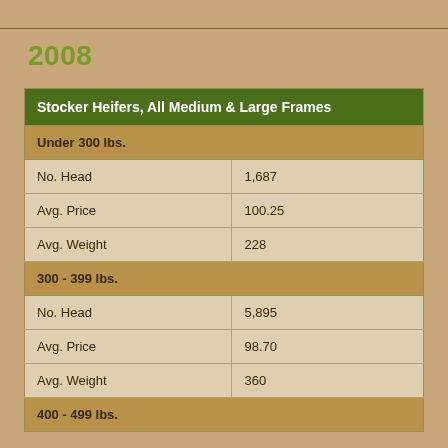2008
| Stocker Heifers, All Medium & Large Frames |  |
| --- | --- |
| Under 300 lbs. |  |
| No. Head | 1,687 |
| Avg. Price | 100.25 |
| Avg. Weight | 228 |
| 300 - 399 lbs. |  |
| No. Head | 5,895 |
| Avg. Price | 98.70 |
| Avg. Weight | 360 |
| 400 - 499 lbs. |  |